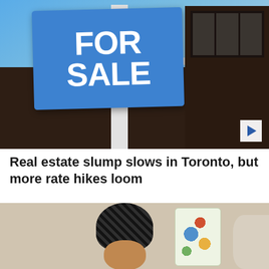[Figure (photo): Photograph of a blue 'FOR SALE' sign in front of a brick house, with a white post and bracket, blue sky in background. A play button overlay appears in the bottom right corner.]
Real estate slump slows in Toronto, but more rate hikes loom
[Figure (photo): Photograph of a person wearing a checkered black and white turban/head covering, partially visible, with a decorative pillow visible beside them.]